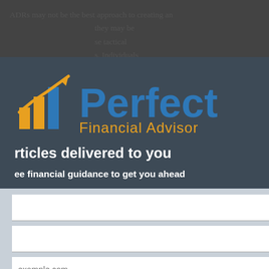ADRs may not be the best approach to creating an international portfolio, they may be used to use tactical opportunities. Individuals can benefit from the extensive research available.
[Figure (logo): Perfect Financial Advisor logo with upward arrow/chart icon in blue and gold, text reads 'Perfect Financial Advisor']
articles delivered to you
ee financial guidance to get you ahead
example.com